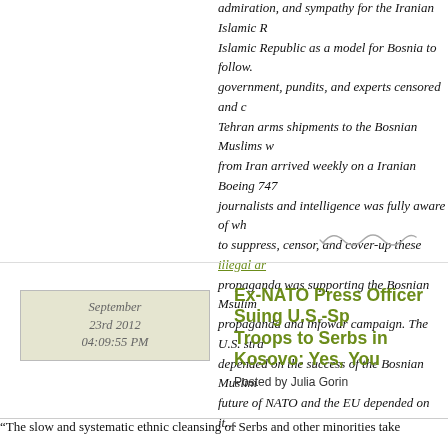admiration, and sympathy for the Iranian Islamic Republic as a model for Bosnia to follow. government, pundits, and experts censored and d Tehran arms shipments to the Bosnian Muslims w from Iran arrived weekly on a Iranian Boeing 747 journalists and intelligence was fully aware of wha to suppress, censor, and cover-up these illegal ar propaganda was supporting the Bosnian Msulim propaganda and infowar campaign. The U.S. stra depended on the success of the Bosnian Muslim future of NATO and the EU depended on it…
[Figure (illustration): Decorative squiggle/flourish divider]
September 23rd 2012 04:09:55 PM
Ex-NATO Press Officer Suing U.S.-Sp Troops to Serbs in Kosovo: Yes, You
Posted by Julia Gorin
“The slow and systematic ethnic cleansing of Serbs and other minorities take